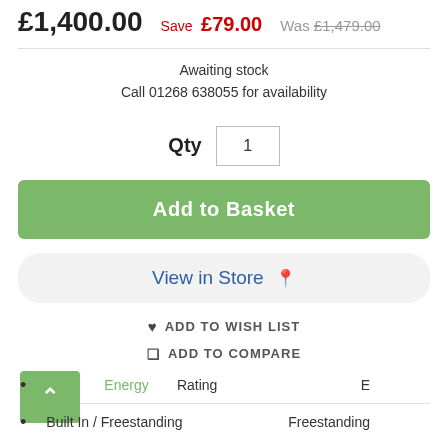£1,400.00  Save £79.00  Was £1,479.00
Awaiting stock
Call 01268 638055 for availability
Qty  1
Add to Basket
View in Store
♥ ADD TO WISH LIST
☐ ADD TO COMPARE
Energy Rating — E
Built In / Freestanding — Freestanding